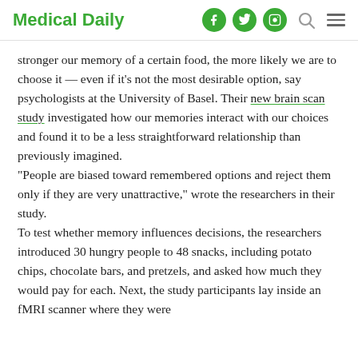Medical Daily
stronger our memory of a certain food, the more likely we are to choose it — even if it's not the most desirable option, say psychologists at the University of Basel. Their new brain scan study investigated how our memories interact with our choices and found it to be a less straightforward relationship than previously imagined.
“People are biased toward remembered options and reject them only if they are very unattractive,” wrote the researchers in their study.
To test whether memory influences decisions, the researchers introduced 30 hungry people to 48 snacks, including potato chips, chocolate bars, and pretzels, and asked how much they would pay for each. Next, the study participants lay inside an fMRI scanner where they were